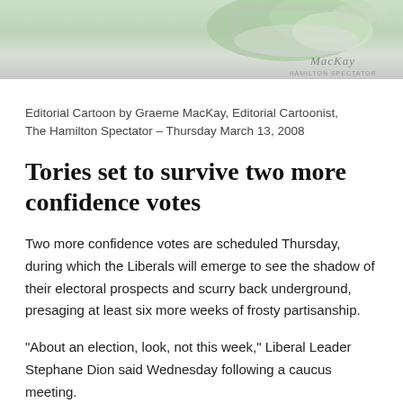[Figure (illustration): Partial editorial cartoon image at top of page, showing a cartoon with green and silver elements and a MacKay watermark in the lower right corner.]
Editorial Cartoon by Graeme MacKay, Editorial Cartoonist, The Hamilton Spectator – Thursday March 13, 2008
Tories set to survive two more confidence votes
Two more confidence votes are scheduled Thursday, during which the Liberals will emerge to see the shadow of their electoral prospects and scurry back underground, presaging at least six more weeks of frosty partisanship.
“About an election, look, not this week,” Liberal Leader Stephane Dion said Wednesday following a caucus meeting.